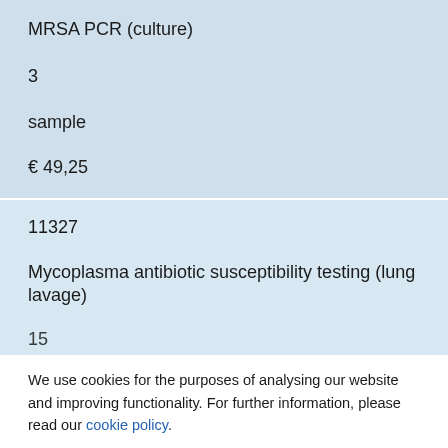MRSA PCR (culture)
3
sample
€ 49,25
11327
Mycoplasma antibiotic susceptibility testing (lung lavage)
15
We use cookies for the purposes of analysing our website and improving functionality. For further information, please read our cookie policy.
Accept
Change settings